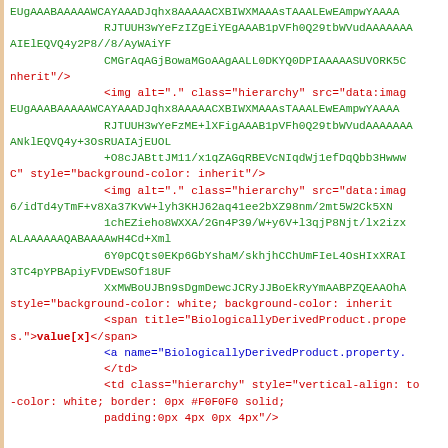Screenshot of source code/HTML content with syntax highlighting showing base64 image data and HTML markup for BiologicallyDerivedProduct